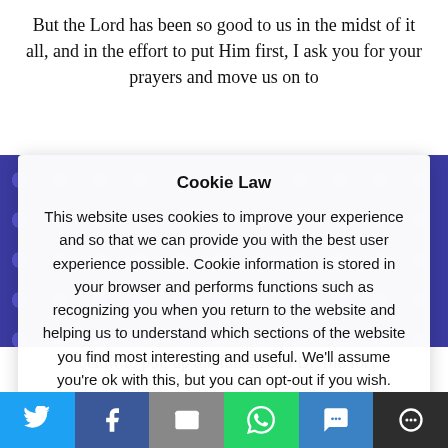But the Lord has been so good to us in the midst of it all, and in the effort to put Him first, I ask you for your prayers and move us on to
Cookie Law
This website uses cookies to improve your experience and so that we can provide you with the best user experience possible. Cookie information is stored in your browser and performs functions such as recognizing you when you return to the website and helping us to understand which sections of the website you find most interesting and useful. We'll assume you're ok with this, but you can opt-out if you wish.
below to pull up the full-sized PDF file for
[Figure (infographic): Social media share bar with Twitter, Facebook, Email, WhatsApp, SMS, and More buttons]